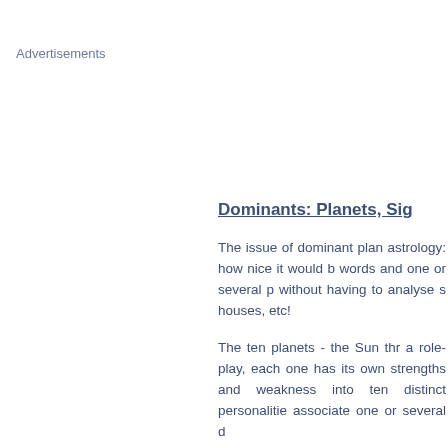Advertisements
Dominants: Planets, Sig
The issue of dominant plan astrology: how nice it would b words and one or several p without having to analyse s houses, etc!
The ten planets - the Sun thr a role-play, each one has its own strengths and weakness into ten distinct personalitie associate one or several d